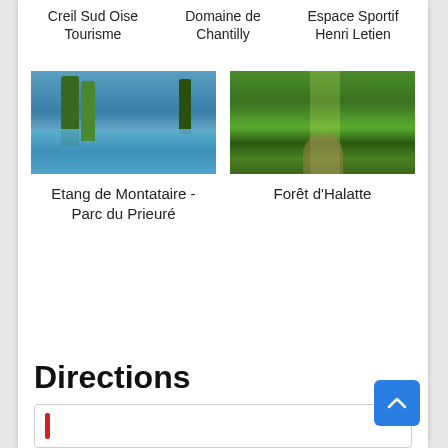Creil Sud Oise Tourisme
Domaine de Chantilly
Espace Sportif Henri Letien
[Figure (photo): Photo of a lake with trees reflected in water - Etang de Montataire]
Etang de Montataire - Parc du Prieuré
[Figure (photo): Photo of a forest path through green trees - Forêt d'Halatte]
Forêt d'Halatte
Directions